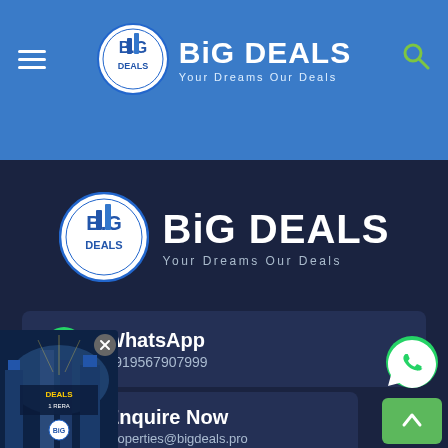[Figure (logo): BiG DEALS app header with hamburger menu, logo, brand name 'BiG DEALS / Your Dreams Our Deals', and green search icon]
[Figure (logo): BiG DEALS large logo centered on dark background with text 'BiG DEALS / Your Dreams Our Deals']
WhatsApp
+919567907999
Enquire Now
properties@bigdeals.pro